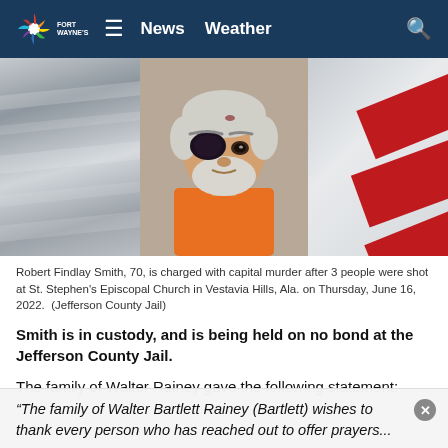Fort Wayne's NBC | News  Weather
[Figure (photo): Mugshot of Robert Findlay Smith, 70, wearing an orange jumpsuit with a severe black eye, white hair and beard, photographed for Jefferson County Jail booking.]
Robert Findlay Smith, 70, is charged with capital murder after 3 people were shot at St. Stephen's Episcopal Church in Vestavia Hills, Ala. on Thursday, June 16, 2022.  (Jefferson County Jail)
Smith is in custody, and is being held on no bond at the Jefferson County Jail.
The family of Walter Rainey gave the following statement:
“The family of Walter Bartlett Rainey (Bartlett) wishes to thank every person who has reached out to offer prayers...